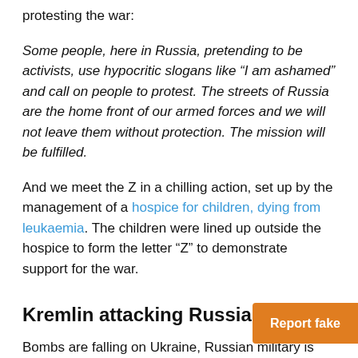protesting the war:
Some people, here in Russia, pretending to be activists, use hypocritic slogans like “I am ashamed” and call on people to protest. The streets of Russia are the home front of our armed forces and we will not leave them without protection. The mission will be fulfilled.
And we meet the Z in a chilling action, set up by the management of a hospice for children, dying from leukaemia. The children were lined up outside the hospice to form the letter “Z” to demonstrate support for the war.
Kremlin attacking Russia
Bombs are falling on Ukraine, Russian military is targeting civilians. From Moldova by the Black Sea to hundred thousands of Ukrainians are seekin